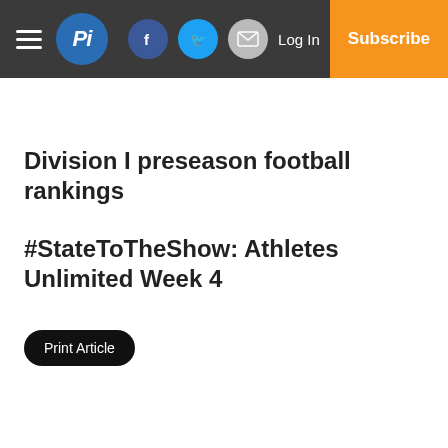Pi — navigation bar with hamburger menu, logo, Facebook, Twitter, Email icons, Log In, Subscribe
Division I preseason football rankings
#StateToTheShow: Athletes Unlimited Week 4
Print Article